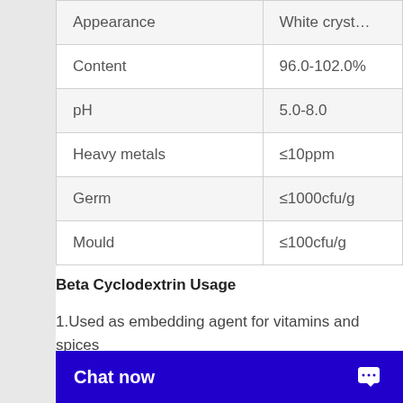|  |  |
| --- | --- |
| Appearance | White cryst… |
| Content | 96.0-102.0% |
| pH | 5.0-8.0 |
| Heavy metals | ≤10ppm |
| Germ | ≤1000cfu/g |
| Mould | ≤100cfu/g |
Beta Cyclodextrin Usage
1.Used as embedding agent for vitamins and spices
(m… ai…